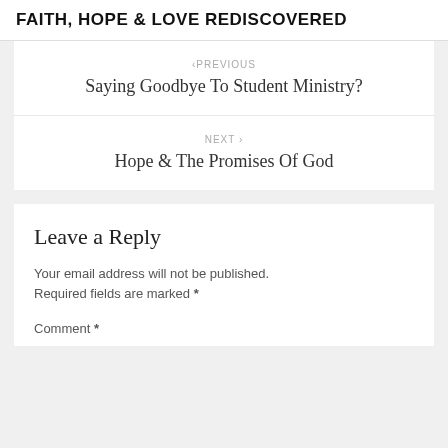FAITH, HOPE & LOVE REDISCOVERED
‹PREVIOUS
Saying Goodbye To Student Ministry?
NEXT ›
Hope & The Promises Of God
Leave a Reply
Your email address will not be published. Required fields are marked *
Comment *